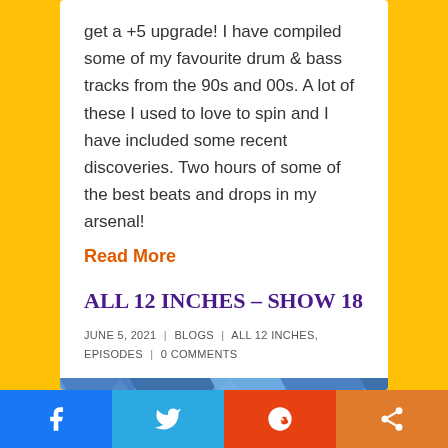get a +5 upgrade! I have compiled some of my favourite drum & bass tracks from the 90s and 00s. A lot of these I used to love to spin and I have included some recent discoveries. Two hours of some of the best beats and drops in my arsenal!
Read More
ALL 12 INCHES – SHOW 18
JUNE 5, 2021 | BLOGS | ALL 12 INCHES, EPISODES | 0 COMMENTS
[Figure (illustration): Blue graphic banner with stylized text reading W3LL12IN and geometric blue shapes]